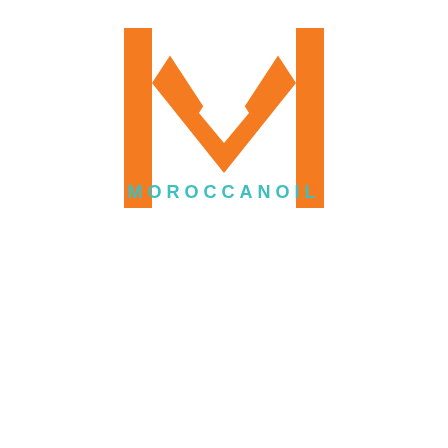[Figure (logo): Moroccanoil logo: large orange M lettermark above the text MOROCCANOIL in teal/turquoise spaced capitals]